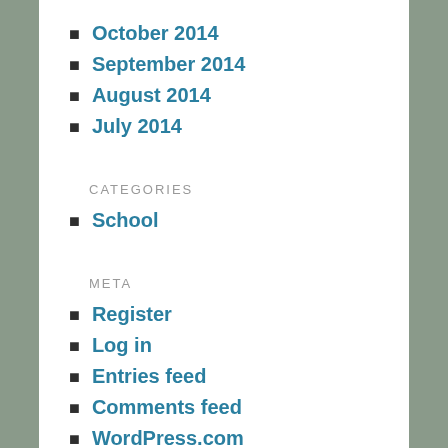October 2014
September 2014
August 2014
July 2014
CATEGORIES
School
META
Register
Log in
Entries feed
Comments feed
WordPress.com
Blog at WordPress.com.